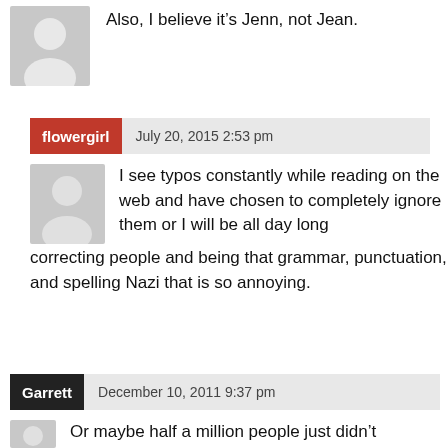[Figure (illustration): Grey avatar placeholder icon for anonymous user]
Also, I believe it's Jenn, not Jean.
flowergirl  July 20, 2015 2:53 pm
[Figure (illustration): Grey avatar placeholder icon for flowergirl user]
I see typos constantly while reading on the web and have chosen to completely ignore them or I will be all day long correcting people and being that grammar, punctuation, and spelling Nazi that is so annoying.
Garrett  December 10, 2011 9:37 pm
[Figure (illustration): Grey avatar placeholder icon for Garrett user]
Or maybe half a million people just didn't